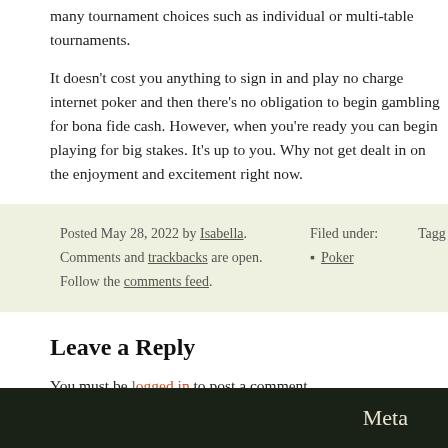many tournament choices such as individual or multi-table tournaments.
It doesn't cost you anything to sign in and play no charge internet poker and there's no obligation to begin gambling for bona fide cash. However, when you're ready you can begin playing for big stakes. It's up to you. Why not get dealt in on the enjoyment and excitement right now.
Posted May 28, 2022 by Isabella. Comments and trackbacks are open. Follow the comments feed. Filed under: Poker Tagged
Leave a Reply
You must be logged in to post a comment.
← Best Multiplayer Poker Internet Site
Meta